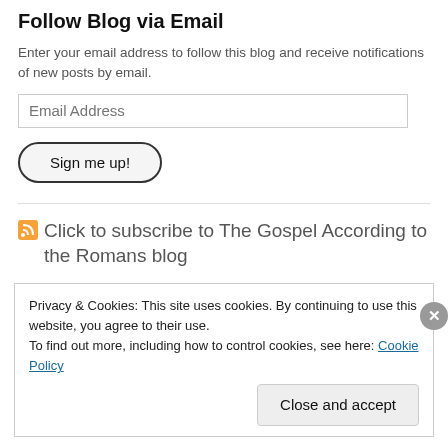Follow Blog via Email
Enter your email address to follow this blog and receive notifications of new posts by email.
Email Address
Sign me up!
Click to subscribe to The Gospel According to the Romans blog
Privacy & Cookies: This site uses cookies. By continuing to use this website, you agree to their use.
To find out more, including how to control cookies, see here: Cookie Policy
Close and accept